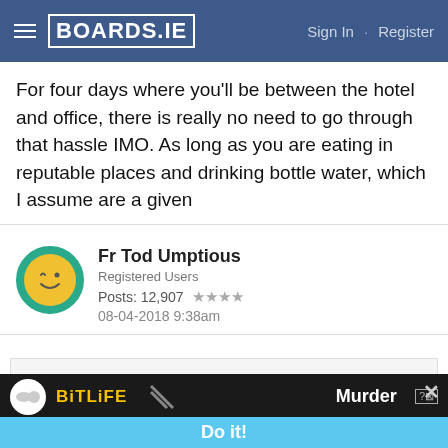BOARDS.IE  Sign In  ·  Register
For four days where you'll be between the hotel and office, there is really no need to go through that hassle IMO. As long as you are eating in reputable places and drinking bottle water, which I assume are a given
Fr Tod Umptious
Registered Users
Posts: 12,907 ★★★★
08-04-2018 9:38am
ArnoldJRimmer wrote: »
For four days where you'll be between the hotel and office, there is really no need to go through that hassle IMO. As long as you are eating in reputable places and drinking bottle water, which I
[Figure (screenshot): BitLife advertisement banner with Murder Do it! text]